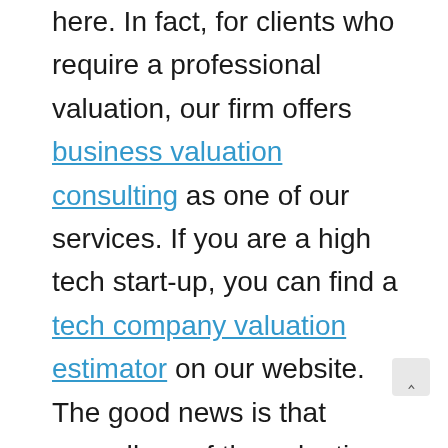here. In fact, for clients who require a professional valuation, our firm offers business valuation consulting as one of our services. If you are a high tech start-up, you can find a tech company valuation estimator on our website. The good news is that regardless of the valuation method employed or how the value is determined, no one can claim, “You’re Wrong.” But, do keep in mind that not everyone will necessarily agree wi’ your assessment, and may question the underlying assumptions that led to your valuation.